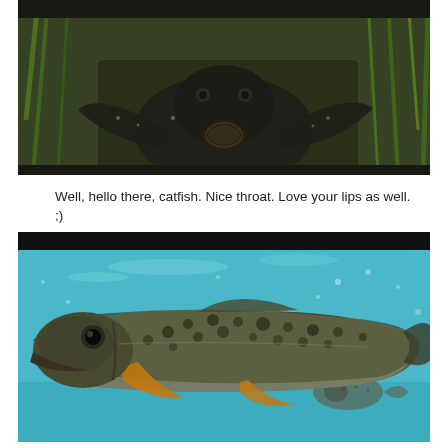[Figure (photo): Close-up photograph of a dark spotted pleco catfish viewed from below/front, showing its textured dark body with white spots, large pectoral fins spread out, and sucker mouth, in an aquarium with green aquatic plants in the background]
Well, hello there, catfish. Nice throat. Love your lips as well. ;)
[Figure (photo): Underwater photograph of a large brown trout with dark spots and orange-yellow fins swimming in clear turquoise-blue aquarium water, with a smaller fish visible in the background]